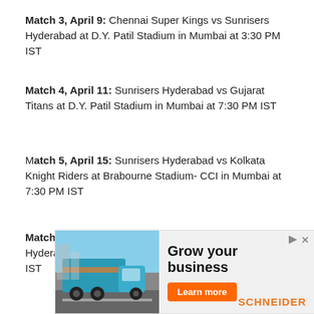Match 3, April 9: Chennai Super Kings vs Sunrisers Hyderabad at D.Y. Patil Stadium in Mumbai at 3:30 PM IST
Match 4, April 11: Sunrisers Hyderabad vs Gujarat Titans at D.Y. Patil Stadium in Mumbai at 7:30 PM IST
Match 5, April 15: Sunrisers Hyderabad vs Kolkata Knight Riders at Brabourne Stadium- CCI in Mumbai at 7:30 PM IST
Match 6, April 17: Punjab Kings vs Sunrisers Hyderabad at D.Y. Patil Stadium in Mumbai at 3:30 PM IST
[Figure (illustration): Advertisement banner for Schneider trucking company featuring a teal semi-truck, text 'Grow your business', an orange 'Learn more' button, and the Schneider logo.]